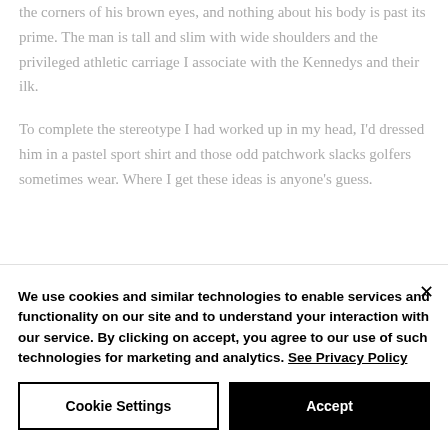the corners of his brown eyes, and nothing about his body is past its prime. The man is tall and slim with wide shoulders and the privileged athletic carriage I associate with the Kennedys and their ilk.
To complete the stereotype I had worked up in my head, I'd dressed him in a pastel sport shirt and those odd patchwork slacks golfers sometimes wear. Where I get these ideas is anyone's guess.
We use cookies and similar technologies to enable services and functionality on our site and to understand your interaction with our service. By clicking on accept, you agree to our use of such technologies for marketing and analytics. See Privacy Policy
Cookie Settings
Accept